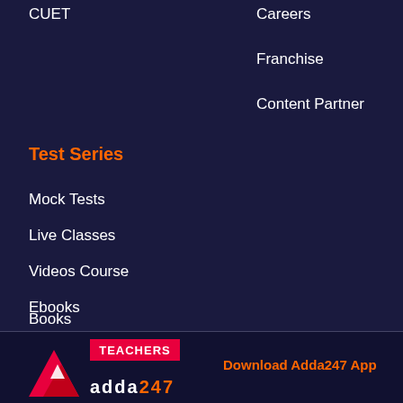CUET
Careers
Franchise
Content Partner
Test Series
Mock Tests
Live Classes
Videos Course
Ebooks
Books
[Figure (logo): Teachers Adda247 logo with red triangle and text, plus Download Adda247 App text in orange]
Download Adda247 App